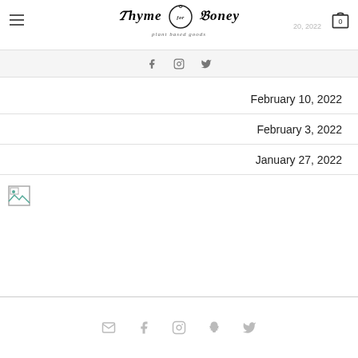Thyme for Honey — plant based goods
20, 2022
February 10, 2022
February 3, 2022
January 27, 2022
[Figure (photo): Broken image placeholder (failed to load)]
Social icons: email, facebook, instagram, snapchat, twitter